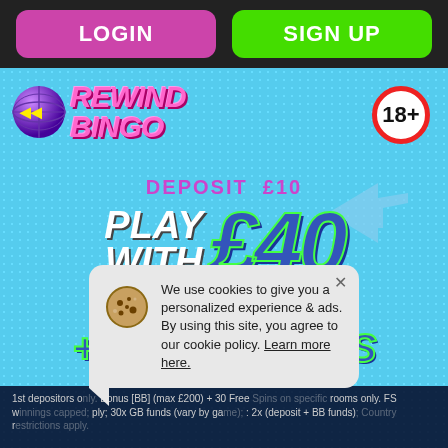LOGIN
SIGN UP
[Figure (logo): Rewind Bingo logo with globe graphic and 18+ age badge]
DEPOSIT £10 PLAY WITH £40 +30 FREE SPINS
We use cookies to give you a personalized experience & ads. By using this site, you agree to our cookie policy. Learn more here.
1st depositors only. Bonus [BB] (max £200) + 30 Free Spins on specific rooms only. FS winnings capped; 30x GB wagering apply; 30x (deposit + BB funds (vary by game): 2x (deposit + BB funds); Country restrictions apply.